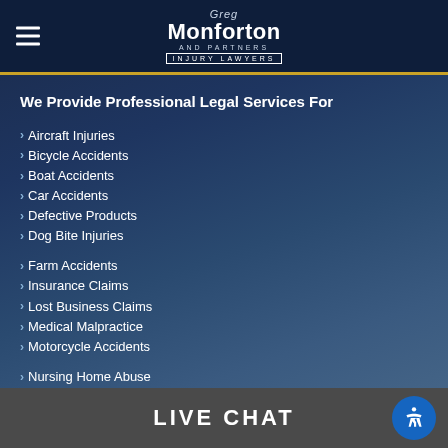[Figure (logo): Greg Monforton and Partners Injury Lawyers logo with hamburger menu icon on dark navy header]
We Provide Professional Legal Services For
Aircraft Injuries
Bicycle Accidents
Boat Accidents
Car Accidents
Defective Products
Dog Bite Injuries
Farm Accidents
Insurance Claims
Lost Business Claims
Medical Malpractice
Motorcycle Accidents
Nursing Home Abuse
Personal Injury
LIVE CHAT